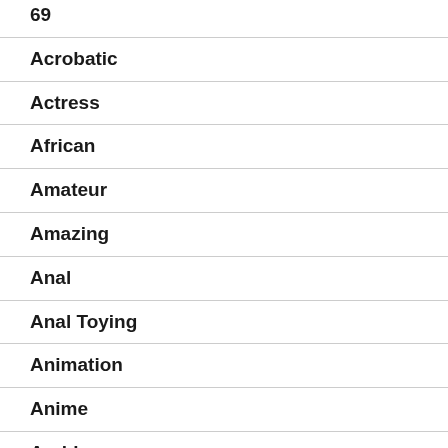69
Acrobatic
Actress
African
Amateur
Amazing
Anal
Anal Toying
Animation
Anime
Arabian
Ar…